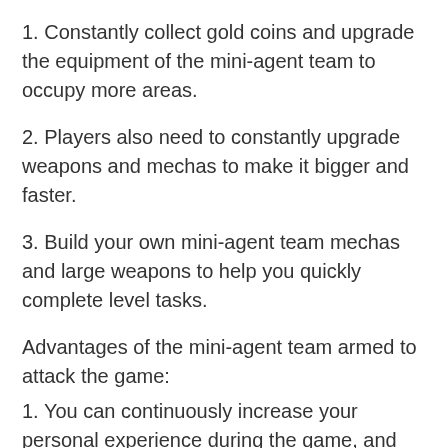1. Constantly collect gold coins and upgrade the equipment of the mini-agent team to occupy more areas.
2. Players also need to constantly upgrade weapons and mechas to make it bigger and faster.
3. Build your own mini-agent team mechas and large weapons to help you quickly complete level tasks.
Advantages of the mini-agent team armed to attack the game:
1. You can continuously increase your personal experience during the game, and you can join a stronger alliance team.